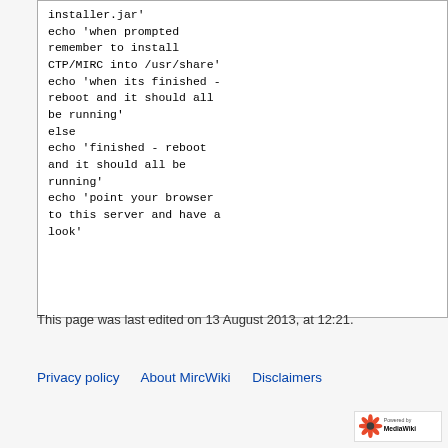installer.jar'
echo 'when prompted remember to install CTP/MIRC into /usr/share'
echo 'when its finished - reboot and it should all be running'
else
echo 'finished - reboot and it should all be running'
echo 'point your browser to this server and have a look'
This page was last edited on 13 August 2013, at 12:21.
Privacy policy   About MircWiki   Disclaimers